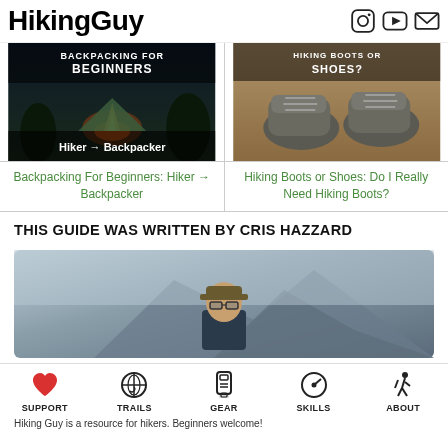HikingGuy
[Figure (photo): Backpacking For Beginners thumbnail: campfire scene at night with tent, text overlay 'BACKPACKING FOR BEGINNERS' and 'Hiker → Backpacker']
Backpacking For Beginners: Hiker → Backpacker
[Figure (photo): Hiking boots/shoes article thumbnail: two worn grey hiking shoes on dirt background, text overlay 'HIKING BOOTS OR SHOES?']
Hiking Boots or Shoes: Do I Really Need Hiking Boots?
THIS GUIDE WAS WRITTEN BY CRIS HAZZARD
[Figure (photo): Photo of Cris Hazzard, a man wearing a cap and glasses, outdoors with rocky mountain background]
[Figure (infographic): Navigation bar with icons: heart (SUPPORT), globe with heart (TRAILS), GPS device (GEAR), compass (SKILLS), hiker (ABOUT)]
Hiking Guy is a resource for hikers. Beginners welcome!